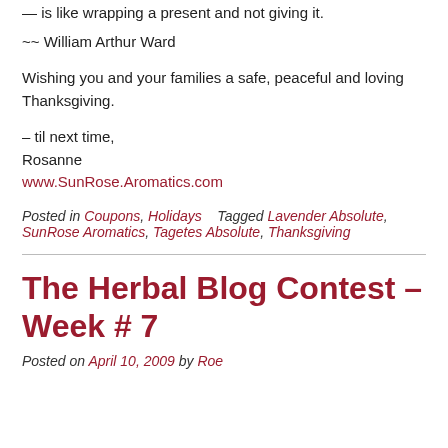— is like wrapping a present and not giving it.
~~ William Arthur Ward
Wishing you and your families a safe, peaceful and loving Thanksgiving.
– til next time,
Rosanne
www.SunRose.Aromatics.com
Posted in Coupons, Holidays   Tagged Lavender Absolute, SunRose Aromatics, Tagetes Absolute, Thanksgiving
The Herbal Blog Contest – Week # 7
Posted on April 10, 2009 by Roe